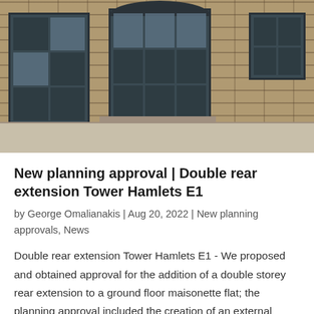[Figure (photo): Photograph of a brick building facade with three dark-framed warehouse-style windows set into a tan/buff brick wall. A concrete ledge or sill is visible at the bottom of the image.]
New planning approval | Double rear extension Tower Hamlets E1
by George Omalianakis | Aug 20, 2022 | New planning approvals, News
Double rear extension Tower Hamlets E1 - We proposed and obtained approval for the addition of a double storey rear extension to a ground floor maisonette flat; the planning approval included the creation of an external terraced area and